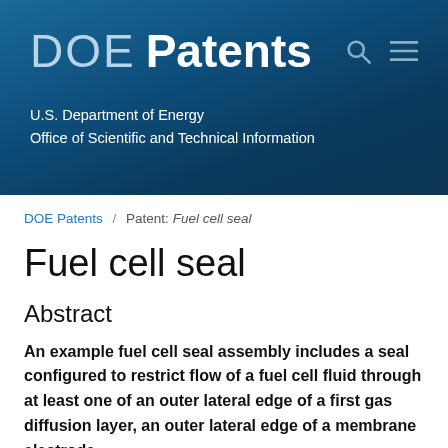DOE Patents — U.S. Department of Energy, Office of Scientific and Technical Information
DOE Patents / Patent: Fuel cell seal
Fuel cell seal
Abstract
An example fuel cell seal assembly includes a seal configured to restrict flow of a fuel cell fluid through at least one of an outer lateral edge of a first gas diffusion layer, an outer lateral edge of a membrane electrode